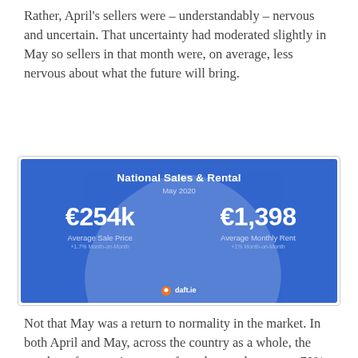Rather, April's sellers were – understandably – nervous and uncertain. That uncertainty had moderated slightly in May so sellers in that month were, on average, less nervous about what the future will bring.
[Figure (infographic): National Sales & Rental May 2020. Average Sale Price €254k (+1.7% Month-on-Month). Average Monthly Rent €1,398 (+1% Month-on-Month). daft.ie branding.]
Not that May was a return to normality in the market. In both April and May, across the country as a whole, the number of properties put up for sale was down over 70%. But clearly, even in a thin market, there was a different air in May than in